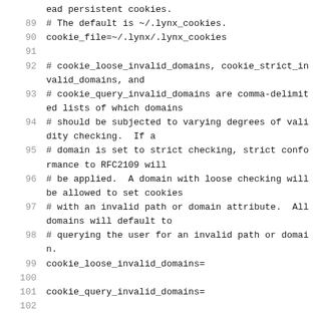ead persistent cookies.
89  # The default is ~/.lynx_cookies.
90  cookie_file=~/.lynx/.lynx_cookies
91
92  # cookie_loose_invalid_domains, cookie_strict_invalid_domains, and
93  # cookie_query_invalid_domains are comma-delimited lists of which domains
94  # should be subjected to varying degrees of validity checking.  If a
95  # domain is set to strict checking, strict conformance to RFC2109 will
96  # be applied.  A domain with loose checking will be allowed to set cookies
97  # with an invalid path or domain attribute.  All domains will default to
98  # querying the user for an invalid path or domain.
99  cookie_loose_invalid_domains=
100
101  cookie_query_invalid_domains=
102
103  cookie_reject_domains=